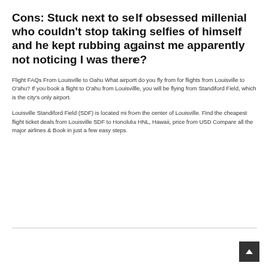Cons: Stuck next to self obsessed millenial who couldn't stop taking selfies of himself and he kept rubbing against me apparently not noticing I was there?
Flight FAQs From Louisville to Oahu What airport do you fly from for flights from Louisville to O'ahu? If you book a flight to O'ahu from Louisville, you will be flying from Standiford Field, which is the city's only airport.
Louisville Standiford Field (SDF) is located mi from the center of Louisville. Find the cheapest flight ticket deals from Louisville SDF to Honolulu HNL, Hawaii, price from USD Compare all the major airlines & Book in just a few easy steps.